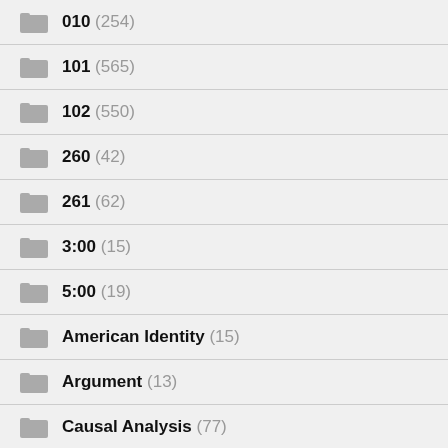010 (254)
101 (565)
102 (550)
260 (42)
261 (62)
3:00 (15)
5:00 (19)
American Identity (15)
Argument (13)
Causal Analysis (77)